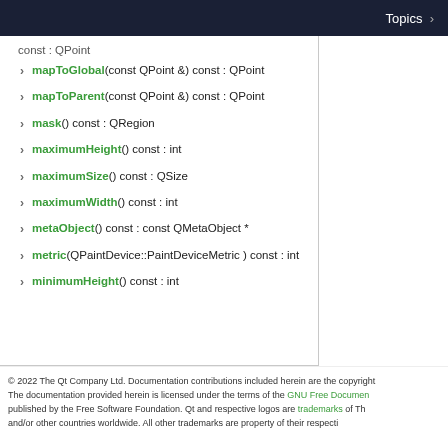Topics
const : QPoint
mapToGlobal(const QPoint &) const : QPoint
mapToParent(const QPoint &) const : QPoint
mask() const : QRegion
maximumHeight() const : int
maximumSize() const : QSize
maximumWidth() const : int
metaObject() const : const QMetaObject *
metric(QPaintDevice::PaintDeviceMetric ) const : int
minimumHeight() const : int
© 2022 The Qt Company Ltd. Documentation contributions included herein are the copyright The documentation provided herein is licensed under the terms of the GNU Free Document published by the Free Software Foundation. Qt and respective logos are trademarks of Th and/or other countries worldwide. All other trademarks are property of their respecti